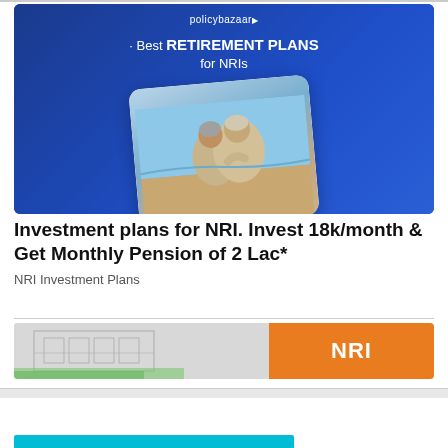[Figure (illustration): PolicyBazaar advertisement banner with blue background showing 'Best RETIREMENT PLANS for NRIs' text and a photo card of an elderly couple sitting together looking at the ocean]
Investment plans for NRI. Invest 18k/month & Get Monthly Pension of 2 Lac*
NRI Investment Plans
[Figure (illustration): Second NRI investment advertisement banner with building sketch on left and orange panel with 'NRI' text on right]
ADVERTISEMENT
Sponsored Content
[Figure (photo): Product photo of a square teak ottoman/stool with cushion]
Charleston Teak... Learn more